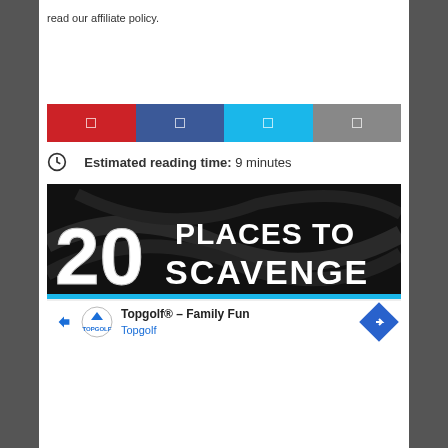read our affiliate policy.
[Figure (other): Social share buttons row: Pinterest (red), Facebook (blue), Twitter (cyan), Share (gray)]
Estimated reading time: 9 minutes
[Figure (illustration): Dark black background with large bold white text reading '20 PLACES TO SCAVENGE']
[Figure (other): Advertisement banner: Topgolf - Family Fun, Topgolf brand, with navigation arrow icon]